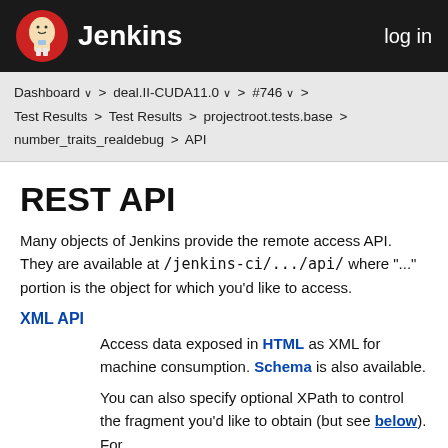Jenkins  log in
Dashboard ∨ > deal.II-CUDA11.0 ∨ > #746 ∨ > Test Results > Test Results > projectroot.tests.base > number_traits_realdebug > API
REST API
Many objects of Jenkins provide the remote access API. They are available at /jenkins-ci/.../api/ where "..." portion is the object for which you'd like to access.
XML API
Access data exposed in HTML as XML for machine consumption. Schema is also available.
You can also specify optional XPath to control the fragment you'd like to obtain (but see below). For